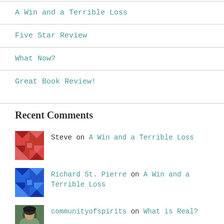A Win and a Terrible Loss
Five Star Review
What Now?
Great Book Review!
Recent Comments
Steve on A Win and a Terrible Loss
Richard St. Pierre on A Win and a Terrible Loss
communityofspirits on What is Real?